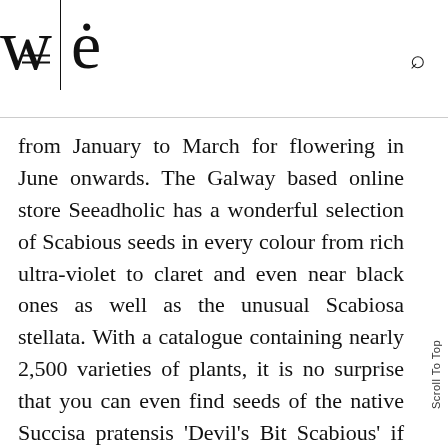w | ė  [website logo with menu and search icons]
from January to March for flowering in June onwards. The Galway based online store Seeadholic has a wonderful selection of Scabious seeds in every colour from rich ultra-violet to claret and even near black ones as well as the unusual Scabiosa stellata. With a catalogue containing nearly 2,500 varieties of plants, it is no surprise that you can even find seeds of the native Succisa pratensis 'Devil's Bit Scabious' if you're after that really natural, and totally on-trend